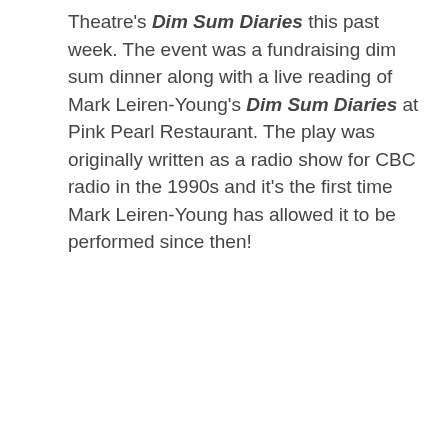Theatre's Dim Sum Diaries this past week. The event was a fundraising dim sum dinner along with a live reading of Mark Leiren-Young's Dim Sum Diaries at Pink Pearl Restaurant. The play was originally written as a radio show for CBC radio in the 1990s and it's the first time Mark Leiren-Young has allowed it to be performed since then!